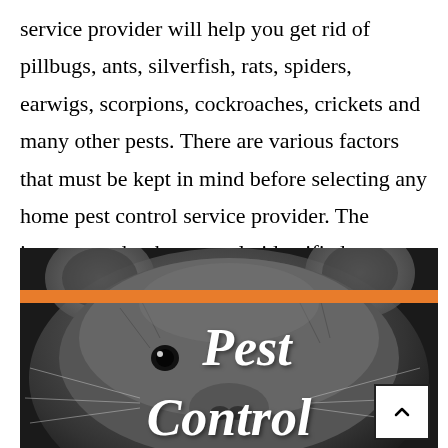service provider will help you get rid of pillbugs, ants, silverfish, rats, spiders, earwigs, scorpions, cockroaches, crickets and many other pests. There are various factors that must be kept in mind before selecting any home pest control service provider. The insects need to be properly identified to implement the most effective means to eliminate them.
[Figure (photo): Black and white close-up photo of a rat face with an orange horizontal stripe across the middle and white cursive text reading 'Pest Control' overlaid. A back-to-top arrow button appears in the bottom-right corner.]